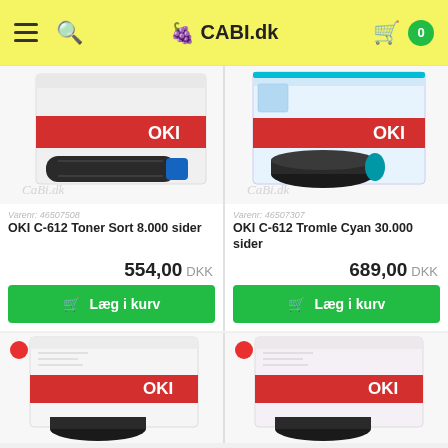CABI.dk
[Figure (photo): OKI C-612 toner cartridge black in OKI branded box]
Varenr: 46507508
OKI C-612 Toner Sort 8.000 sider
554,00 DKK
Læg i kurv
[Figure (photo): OKI C-612 drum unit cyan in OKI branded box]
Varenr: 46507307
OKI C-612 Tromle Cyan 30.000 sider
689,00 DKK
Læg i kurv
[Figure (photo): OKI branded box with drum unit, partially visible]
[Figure (photo): OKI branded box with drum unit, partially visible]